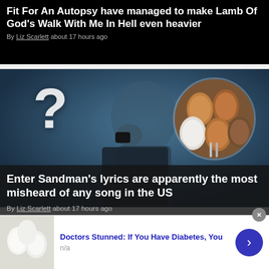Fit For An Autopsy have managed to make Lamb Of God's Walk With Me In Hell even heavier
By Liz Scarlett about 17 hours ago
[Figure (photo): Man with grey hair in dark clothing holding fist near chin, with a large question mark overlay on the left side and a circular inset photo of brown and white eggs on the right]
Enter Sandman's lyrics are apparently the most misheard of any song in the US
By Liz Scarlett about 17 hours ago
Doctors Stunned: If You Have Diabetes, You
n/a